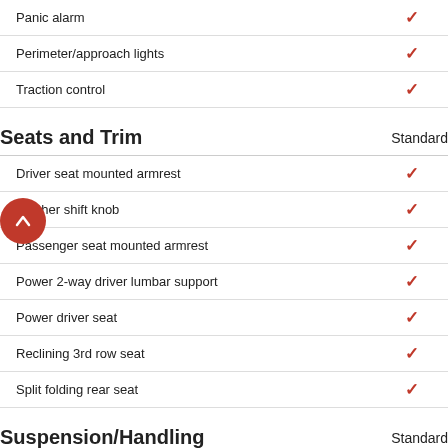| Feature | Standard |
| --- | --- |
| Panic alarm | ✓ |
| Perimeter/approach lights | ✓ |
| Traction control | ✓ |
| Seats and Trim | Standard |
| Driver seat mounted armrest | ✓ |
| Leather shift knob | ✓ |
| Passenger seat mounted armrest | ✓ |
| Power 2-way driver lumbar support | ✓ |
| Power driver seat | ✓ |
| Reclining 3rd row seat | ✓ |
| Split folding rear seat | ✓ |
| Suspension/Handling | Standard |
| Alloy wheels | ✓ |
| Front anti-roll bar | ✓ |
| Front wheel independent suspension | ✓ |
| Power steering | ✓ |